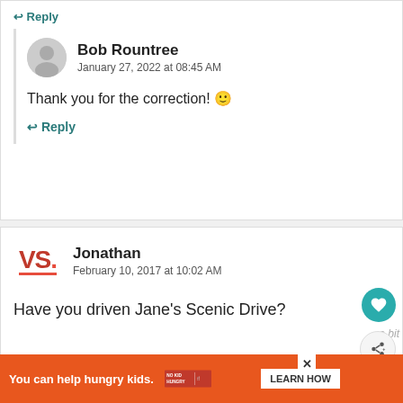↩ Reply
Bob Rountree
January 27, 2022 at 08:45 AM
Thank you for the correction! 🙂
↩ Reply
Jonathan
February 10, 2017 at 10:02 AM
Have you driven Jane's Scenic Drive?
[Figure (screenshot): Orange advertisement banner: 'You can help hungry kids. NO KID HUNGRY LEARN HOW' with close button]